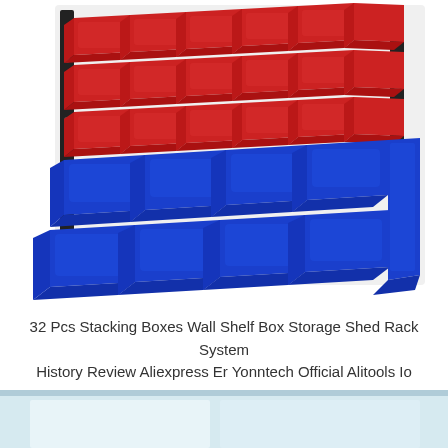[Figure (photo): Wall-mounted storage rack system with red and blue plastic stacking bins arranged in rows. Upper rows have red bins and lower rows have blue bins, mounted on black vertical rails.]
32 Pcs Stacking Boxes Wall Shelf Box Storage Shed Rack System History Review Aliexpress Er Yonntech Official Alitools Io
[Figure (photo): Partial view of another storage or shelving environment with light blue/white walls, bottom portion of image cropped.]